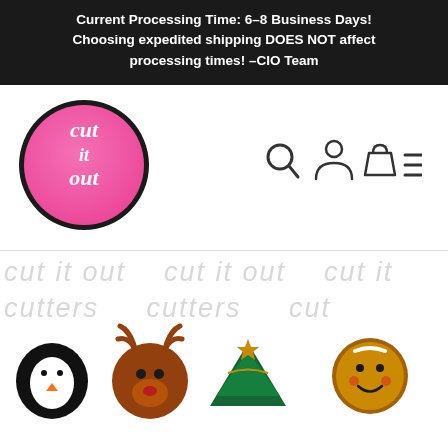Current Processing Time: 6-8 Business Days! Choosing expedited shipping DOES NOT affect processing times! -CIO Team
[Figure (logo): Cut It Out Cutters circular logo — pink gradient circle with black border, white script text reading 'cut it out']
[Figure (infographic): Navigation icons: search (magnifying glass), account (person silhouette), cart (shopping bag), and hamburger menu (three horizontal lines)]
[Figure (infographic): Bottom section with watermark text 'cut it out cutters' repeated, and partial cookie cutter product images: penguin, reindeer, Christmas tree, gingerbread man]